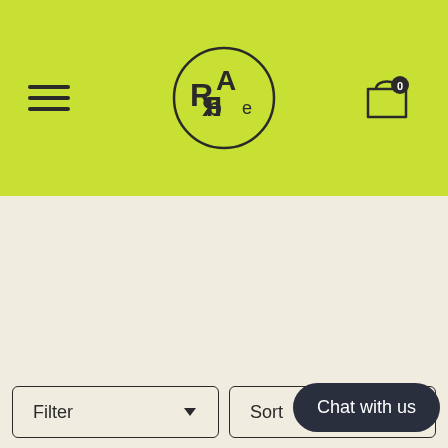[Figure (screenshot): Website header with lime green background, hamburger menu icon on left, circular RAde logo in center, shopping bag icon with 0 count on right]
[Figure (other): Empty product listing area with cream/off-white background]
[Figure (other): Horizontal divider line with dark circular toggle button in center]
Filter
Sort
Chat with us